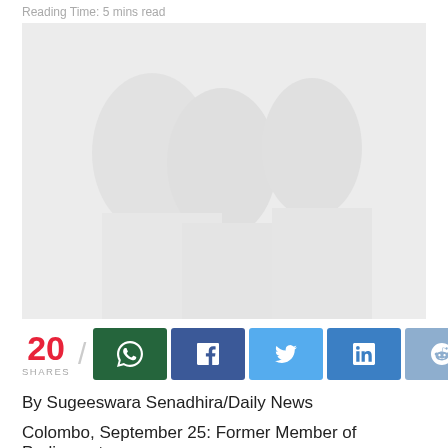Reading Time: 5 mins read
[Figure (photo): A faded/washed out photograph of people, largely gray and white tones]
20 SHARES
By Sugeeswara Senadhira/Daily News
Colombo, September 25: Former Member of Parliament